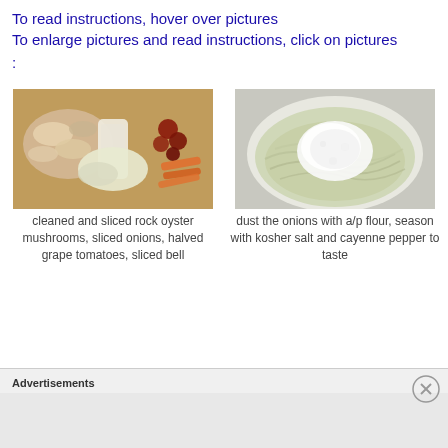To read instructions, hover over pictures
To enlarge pictures and read instructions, click on pictures
:
[Figure (photo): Cleaned and sliced rock oyster mushrooms on a cutting board with sliced onions, halved grape tomatoes, and sliced bell peppers]
cleaned and sliced rock oyster mushrooms, sliced onions, halved grape tomatoes, sliced bell...
[Figure (photo): Bowl of shredded onions dusted with white flour]
dust the onions with a/p flour, season with kosher salt and cayenne pepper to taste
Advertisements